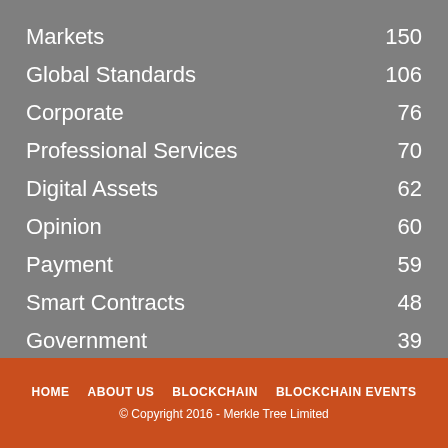Markets 150
Global Standards 106
Corporate 76
Professional Services 70
Digital Assets 62
Opinion 60
Payment 59
Smart Contracts 48
Government 39
HOME   ABOUT US   BLOCKCHAIN   BLOCKCHAIN EVENTS
© Copyright 2016 - Merkle Tree Limited